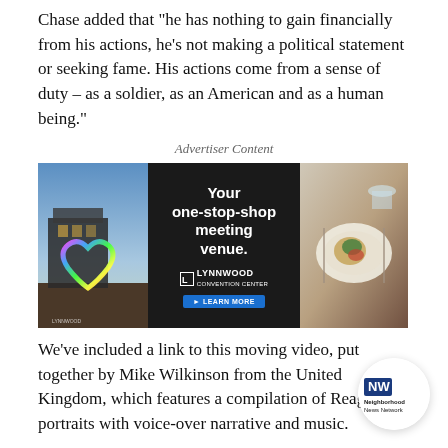Chase added that "he has nothing to gain financially from his actions, he's not making a political statement or seeking fame. His actions come from a sense of duty – as a soldier, as an American and as a human being."
Advertiser Content
[Figure (infographic): Lynnwood Convention Center advertisement banner. Left panel shows building exterior at dusk with colorful heart sculpture. Center panel has dark background with text: Your one-stop-shop meeting venue. Lynnwood Convention Center logo and Learn More button. Right panel shows elegantly plated food at a table setting.]
We've included a link to this moving video, put together by Mike Wilkinson from the United Kingdom, which features a compilation of Reagan's portraits with voice-over narrative and music.
[Figure (logo): Neighborhood News Network circular logo in bottom right corner]